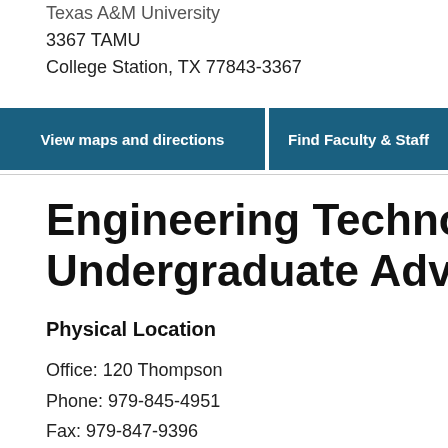Texas A&M University
3367 TAMU
College Station, TX 77843-3367
[Figure (screenshot): Two teal buttons: 'View maps and directions' and 'Find Faculty & Staff']
Engineering Technology Undergraduate Advising
Physical Location
Office: 120 Thompson
Phone: 979-845-4951
Fax: 979-847-9396